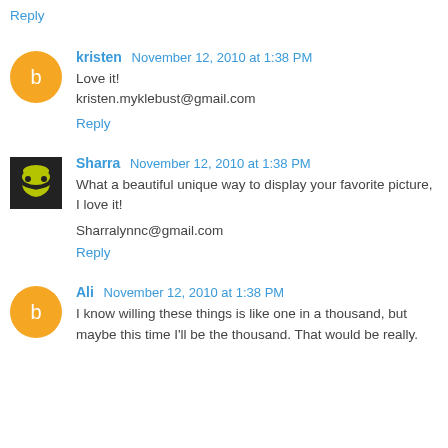Reply
kristen  November 12, 2010 at 1:38 PM
Love it!
kristen.myklebust@gmail.com
Reply
Sharra  November 12, 2010 at 1:38 PM
What a beautiful unique way to display your favorite picture, I love it!
Sharralynnc@gmail.com
Reply
Ali  November 12, 2010 at 1:38 PM
I know willing these things is like one in a thousand, but maybe this time I'll be the thousand. That would be really.